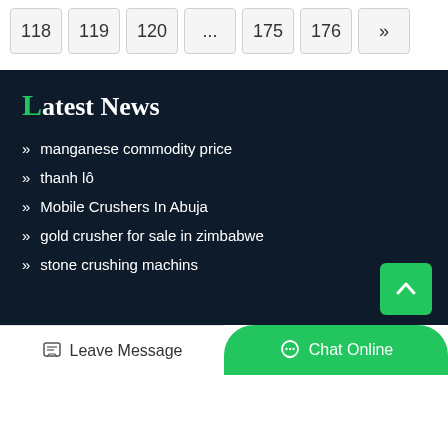Pagination: 118 119 120 ... 175 176 »
Latest News
manganese commodity price
thanh lô
Mobile Crushers In Abuja
gold crusher for sale in zimbabwe
stone crushing machins
Leave Message   Chat Online